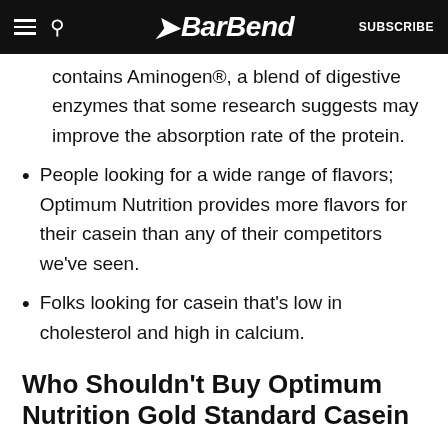BarBend — SUBSCRIBE
contains Aminogen®, a blend of digestive enzymes that some research suggests may improve the absorption rate of the protein.
People looking for a wide range of flavors; Optimum Nutrition provides more flavors for their casein than any of their competitors we've seen.
Folks looking for casein that's low in cholesterol and high in calcium.
Who Shouldn't Buy Optimum Nutrition Gold Standard Casein